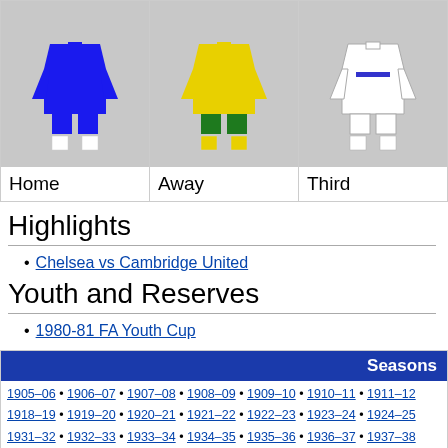[Figure (illustration): Three football kit illustrations labeled Home (blue kit), Away (yellow/green kit), and Third (white kit) shown in a row]
Home
Away
Third
Highlights
Chelsea vs Cambridge United
Youth and Reserves
1980-81 FA Youth Cup
| Seasons |
| --- |
| 1905–06 • 1906–07 • 1907–08 • 1908–09 • 1909–10 • 1910–11 • 1911–12 |
| 1918–19 • 1919–20 • 1920–21 • 1921–22 • 1922–23 • 1923–24 • 1924–25 |
| 1931–32 • 1932–33 • 1933–34 • 1934–35 • 1935–36 • 1936–37 • 1937–38 |